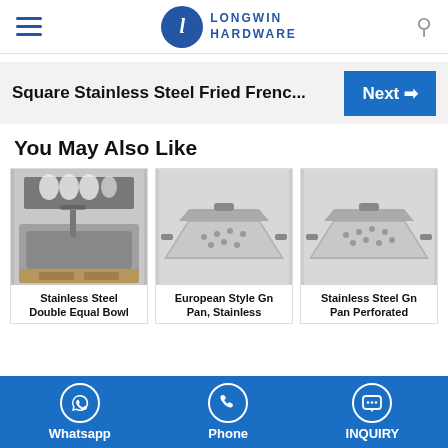Longwin Hardware
Square Stainless Steel Fried Frenc...  Next →
You May Also Like
[Figure (photo): Stainless Steel Double Equal Bowl kitchen sink with dish rack]
Stainless Steel Double Equal Bowl
[Figure (photo): European Style Gn Pan, Stainless steel gastronorm pan]
European Style Gn Pan, Stainless
[Figure (photo): Stainless Steel Gn Pan Perforated gastronorm pan]
Stainless Steel Gn Pan Perforated
Whatsapp   Phone   INQUIRY